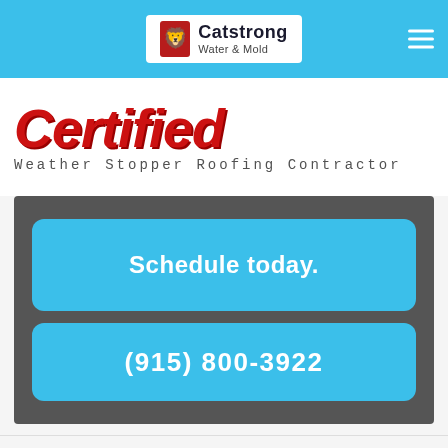Catstrong Water & Mold
[Figure (logo): Catstrong Water & Mold logo with lion icon on white background, inside blue navigation bar with hamburger menu icon on the right]
[Figure (illustration): Certified Weather Stopper Roofing Contractor banner with large red italic 'Certified' text and smaller subtitle text below]
Schedule today.
(915) 800-3922